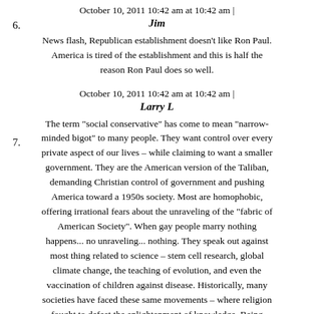October 10, 2011 10:42 am at 10:42 am |
6.
Jim
News flash, Republican establishment doesn't like Ron Paul. America is tired of the establishment and this is half the reason Ron Paul does so well.
October 10, 2011 10:42 am at 10:42 am |
7.
Larry L
The term "social conservative" has come to mean "narrow-minded bigot" to many people. They want control over every private aspect of our lives – while claiming to want a smaller government. They are the American version of the Taliban, demanding Christian control of government and pushing America toward a 1950s society. Most are homophobic, offering irrational fears about the unraveling of the "fabric of American Society". When gay people marry nothing happens... no unraveling... nothing. They speak out against most thing related to science – stem cell research, global climate change, the teaching of evolution, and even the vaccination of children against disease. Historically, many societies have faced these same movements – where religion fought to defeat the enlightenment of knowledge. Being elected the "most socially conservative" is not a compliment.